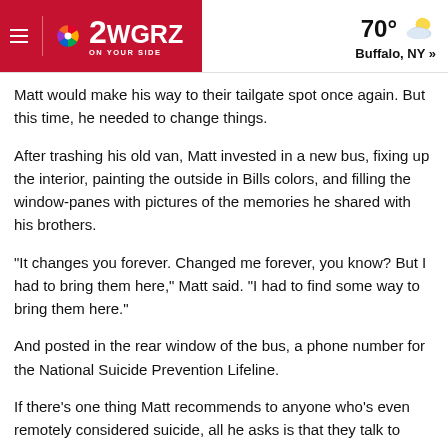2WGRZ ON YOUR SIDE — 70° Buffalo, NY »
Matt would make his way to their tailgate spot once again. But this time, he needed to change things.
After trashing his old van, Matt invested in a new bus, fixing up the interior, painting the outside in Bills colors, and filling the window-panes with pictures of the memories he shared with his brothers.
"It changes you forever. Changed me forever, you know? But I had to bring them here," Matt said. "I had to find some way to bring them here."
And posted in the rear window of the bus, a phone number for the National Suicide Prevention Lifeline.
If there's one thing Matt recommends to anyone who's even remotely considered suicide, all he asks is that they talk to someone.